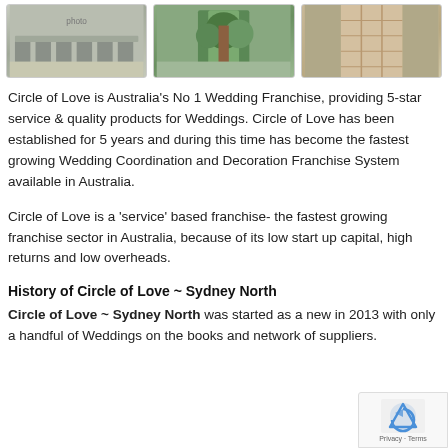[Figure (photo): Three photos of wedding decoration setups arranged in a row: left shows outdoor garden chairs/tables, middle shows a garden archway with plants, right shows an aisle runner or decorated pathway.]
Circle of Love is Australia’s No 1 Wedding Franchise, providing 5-star service & quality products for Weddings. Circle of Love has been established for 5 years and during this time has become the fastest growing Wedding Coordination and Decoration Franchise System available in Australia.
Circle of Love is a ‘service’ based franchise- the fastest growing franchise sector in Australia, because of its low start up capital, high returns and low overheads.
History of Circle of Love ~ Sydney North
Circle of Love ~ Sydney North was started as a new in 2013 with only a handful of Weddings on the books and network of suppliers.